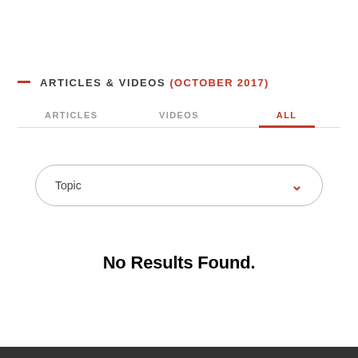— ARTICLES & VIDEOS (OCTOBER 2017)
ARTICLES   VIDEOS   ALL
Topic
No Results Found.